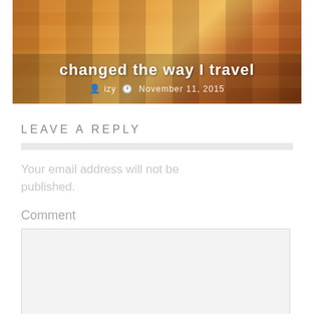[Figure (photo): Hero image showing a wooden floor or lane with warm orange/brown tones, overlaid with blog post title and metadata]
changed the way I travel
izy   November 11, 2015
LEAVE A REPLY
Your email address will not be published.
Comment